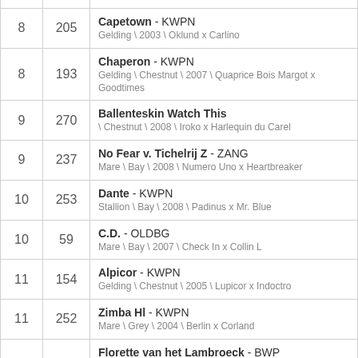| # | ID | Horse Info |
| --- | --- | --- |
| 8 | 205 | Capetown - KWPN
Gelding \ 2003 \ Oklund x Carlino |
| 8 | 193 | Chaperon - KWPN
Gelding \ Chestnut \ 2007 \ Quaprice Bois Margot x Goodtimes |
| 9 | 270 | Ballenteskin Watch This
\ Chestnut \ 2008 \ Iroko x Harlequin du Carel |
| 9 | 237 | No Fear v. Tichelrij Z - ZANG
Mare \ Bay \ 2008 \ Numero Uno x Heartbreaker |
| 10 | 253 | Dante - KWPN
Stallion \ Bay \ 2008 \ Padinus x Mr. Blue |
| 10 | 59 | C.D. - OLDBG
Mare \ Bay \ 2007 \ Check In x Collin L |
| 11 | 154 | Alpicor - KWPN
Gelding \ Chestnut \ 2005 \ Lupicor x Indoctro |
| 11 | 252 | Zimba Hl - KWPN
Mare \ Grey \ 2004 \ Berlin x Corland |
| 12 | 78 | Florette van het Lambroeck - BWP
Mare \ Chestnut \ 2005 \ For Pleasure x Baloubet Du Rouet |
| 12 | 206 | D´Angelo - KWPN
Gelding \ ... |